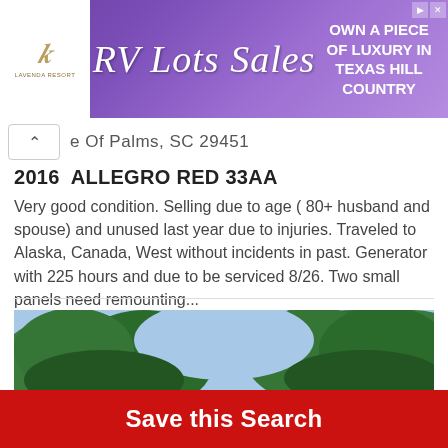[Figure (other): Advertisement banner for RV Lots Sales - 'Own a piece of luxury in Texas Hill Country' with purple lavender background and Lavenda Resort logo]
e Of Palms, SC 29451
2016  ALLEGRO RED 33AA
Very good condition. Selling due to age ( 80+ husband and spouse) and unused last year due to injuries. Traveled to Alaska, Canada, West without incidents in past. Generator with 225 hours and due to be serviced 8/26. Two small panels need remounting...
[Figure (photo): Photo of trees with green foliage against blue sky]
Save this Search